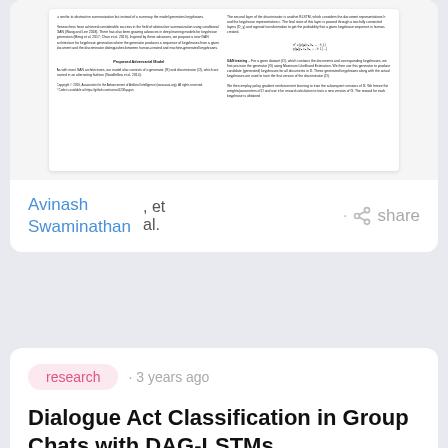[Figure (screenshot): Preview of a research paper with two-column layout showing text about adversarial model for keyphrase generation, including a 'Proposed Adversarial Model' section header]
Avinash Swaminathan , et al.
· share
research · 3 years ago
Dialogue Act Classification in Group Chats with DAG-LSTMs
Dialogue act (DA) classification has been studied for the past two decad...
[Figure (screenshot): Thumbnail preview of the Dialogue Act Classification paper showing a table header 'Table 1: F1 scores of various classes for different models']